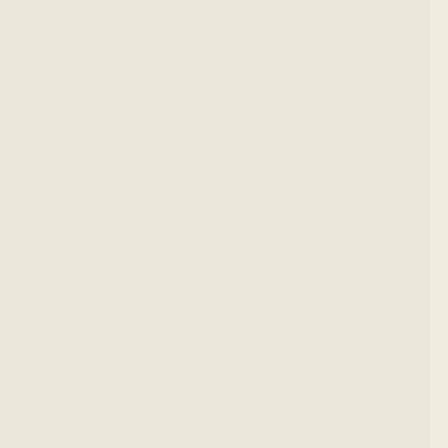|  | Accession | Gene | Description |
| --- | --- | --- | --- |
| ☐ | NC_009436 | Ent638_3139 | methylt... 11 |
| ☐ | NC_011832 | Mpal_1880 | Methylt... 11 |
| ☐ | NC_013441 | Gbro_2876 | Methylt... 11 |
| ☐ | NC_010515 | Bcenmc03_4181 | methylt... 11 |
| ☐ | NC_008061 | Bcen_4832 | methylt... 11 |
| ☐ | NC_008543 | Bcen2424_3334 | methylt... 11 |
| ☐ | NC_006348 | BMA1136 | hypothe... |
| ☐ | NC_013757 | Gobs_3199 | Methylt... 11 |
| ☐ | NC_007434 | BURPS1710b_2135 | ubiquin... biosyntl... methylt... |